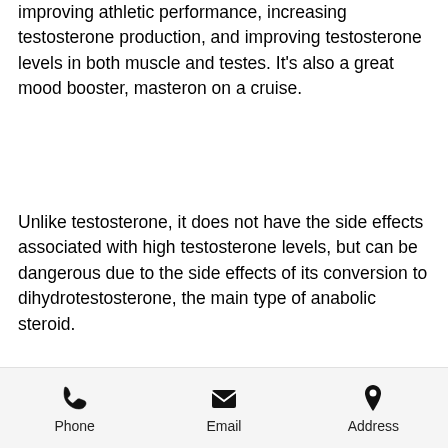improving athletic performance, increasing testosterone production, and improving testosterone levels in both muscle and testes. It's also a great mood booster, masteron on a cruise.
Unlike testosterone, it does not have the side effects associated with high testosterone levels, but can be dangerous due to the side effects of its conversion to dihydrotestosterone, the main type of anabolic steroid.
So what is dihydrotestosterone, can steroids cause kidney stones? It's a hormone synthesized from testosterone by the liver, dianabol no bloat. Its goal is to reduce the testosterone production and the production of sex hormone-binding globulin, which aids
Phone   Email   Address